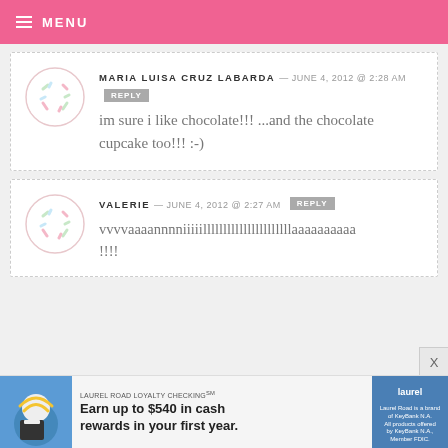MENU
MARIA LUISA CRUZ LABARDA — JUNE 4, 2012 @ 2:28 AM  REPLY
im sure i like chocolate!!! ...and the chocolate cupcake too!!! :-)
VALERIE — JUNE 4, 2012 @ 2:27 AM  REPLY
vvvvaaaannnniiiiillllllllllllllllllllllaaaaaaaaaa!!!!
[Figure (other): Advertisement: Laurel Road Loyalty Checking. Earn up to $540 in cash rewards in your first year.]